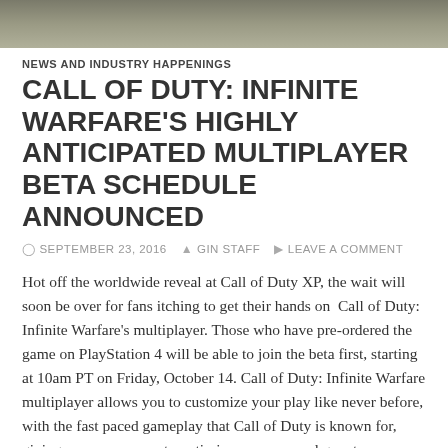[Figure (photo): Blurred dark banner image at top of page, appears to be a game scene]
NEWS AND INDUSTRY HAPPENINGS
CALL OF DUTY: INFINITE WARFARE'S HIGHLY ANTICIPATED MULTIPLAYER BETA SCHEDULE ANNOUNCED
SEPTEMBER 23, 2016   GIN STAFF   LEAVE A COMMENT
Hot off the worldwide reveal at Call of Duty XP, the wait will soon be over for fans itching to get their hands on  Call of Duty: Infinite Warfare's multiplayer. Those who have pre-ordered the game on PlayStation 4 will be able to join the beta first, starting at 10am PT on Friday, October 14. Call of Duty: Infinite Warfare multiplayer allows you to customize your play like never before, with the fast paced gameplay that Call of Duty is known for, giving you more ways to optimize weapons and gear to your personal style of play. Infinite Warfare introduces … Continue reading →